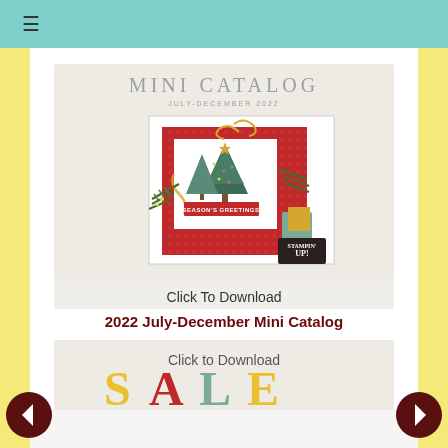≡
[Figure (illustration): Stampin' Up! Mini Catalog cover for July-December 2022 featuring Christmas card with holiday trees, 'SEASONS GREETINGS' banner, pine branches, gold stars and ribbon decorations. Text reads 'MINI CATALOG JULY-DECEMBER 2022'. Stampin' Up! logo in bottom right.]
Click To Download
2022 July-December Mini Catalog
[Figure (illustration): Partial view of another catalog/download image showing 'Click to Download' text and colorful 'SALE' text beginning to appear at the bottom of the page.]